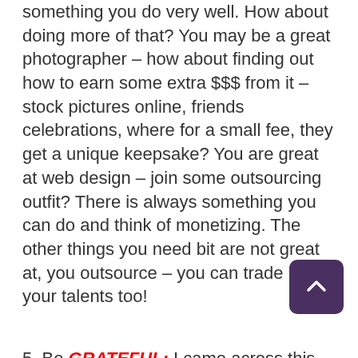something you do very well. How about doing more of that? You may be a great photographer – how about finding out how to earn some extra $$$ from it – stock pictures online, friends celebrations, where for a small fee, they get a unique keepsake? You are great at web design – join some outsourcing outfit? There is always something you can do and think of monetizing. The other things you need bit are not great at, you outsource – you can trade it for your talents too!
5. Be GRATEFUL: I came across this phrase which I love "When you appreciate the good, the good appreciates". Never underestimate the power of gratitude. You become a calmer, centred person. In giving, you will attract what you need.
Once you have your goal, COMMIT and start with something